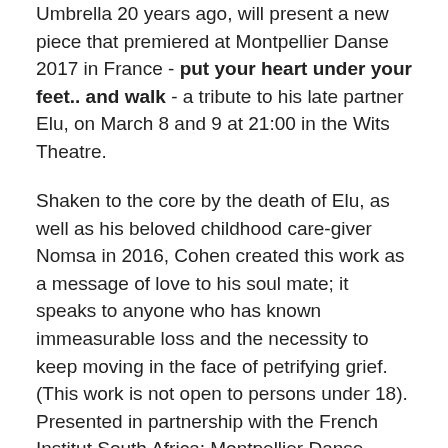Umbrella 20 years ago, will present a new piece that premiered at Montpellier Danse 2017 in France - put your heart under your feet.. and walk - a tribute to his late partner Elu, on March 8 and 9 at 21:00 in the Wits Theatre.
Shaken to the core by the death of Elu, as well as his beloved childhood care-giver Nomsa in 2016, Cohen created this work as a message of love to his soul mate; it speaks to anyone who has known immeasurable loss and the necessity to keep moving in the face of petrifying grief. (This work is not open to persons under 18). Presented in partnership with the French Institut South Africa; Montpellier Danse 2017; Fumain TROP; French Institut Novelle-Aquitaine.
On Sunday, March 11 from 10:00, up-and-coming choreographers will present new works on the New